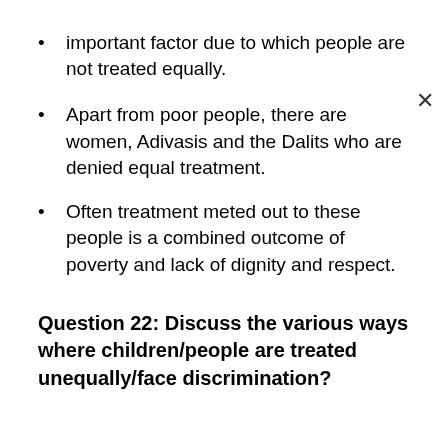important factor due to which people are not treated equally.
Apart from poor people, there are women, Adivasis and the Dalits who are denied equal treatment.
Often treatment meted out to these people is a combined outcome of poverty and lack of dignity and respect.
Question 22: Discuss the various ways where children/people are treated unequally/face discrimination?